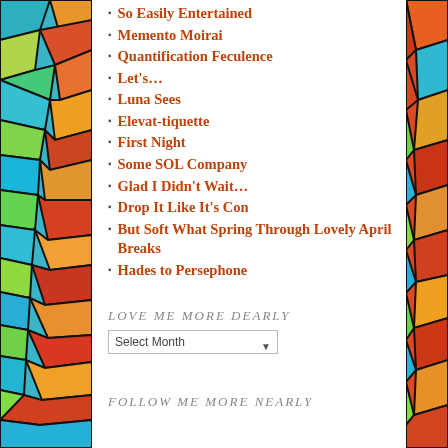So Easily Entertained
Memento Moirai
Quantification Feculence
Let's…
Luna Sees
Elevat-tiquette
First Night
Some SOL Company
Glad I Didn't Wait…
Drop It Like It's Con
But Soft What Spring Through Lovely April Breaks
Hades to Persephone
LOVE ME MORE DEARLY
Select Month
FOLLOW ME MORE NEARLY